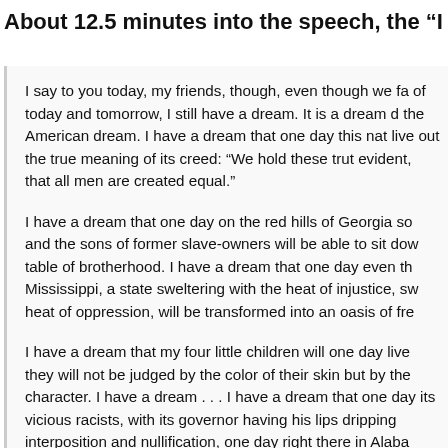About 12.5 minutes into the speech, the “I have
I say to you today, my friends, though, even though we fa of today and tomorrow, I still have a dream. It is a dream d the American dream. I have a dream that one day this nat live out the true meaning of its creed: “We hold these trut evident, that all men are created equal.”
I have a dream that one day on the red hills of Georgia so and the sons of former slave-owners will be able to sit dow table of brotherhood. I have a dream that one day even th Mississippi, a state sweltering with the heat of injustice, sw heat of oppression, will be transformed into an oasis of fre
I have a dream that my four little children will one day live they will not be judged by the color of their skin but by the character. I have a dream . . . I have a dream that one day its vicious racists, with its governor having his lips dripping interposition and nullification, one day right there in Alaba